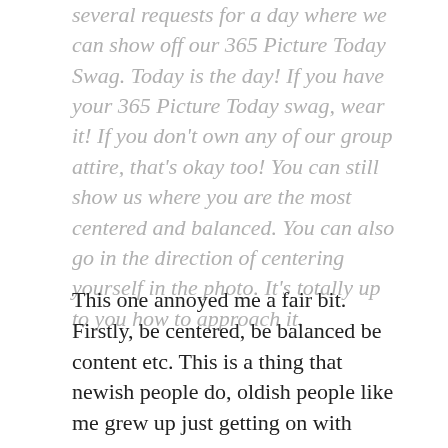several requests for a day where we can show off our 365 Picture Today Swag. Today is the day! If you have your 365 Picture Today swag, wear it! If you don't own any of our group attire, that's okay too! You can still show us where you are the most centered and balanced. You can also go in the direction of centering yourself in the photo. It's totally up to you how to approach it.
This one annoyed me a fair bit. Firstly, be centered, be balanced be content etc. This is a thing that newish people do, oldish people like me grew up just getting on with